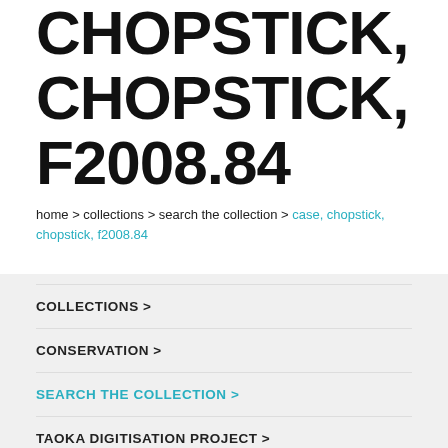CHOPSTICK, CHOPSTICK, F2008.84
home > collections > search the collection > case, chopstick, chopstick, f2008.84
COLLECTIONS >
CONSERVATION >
SEARCH THE COLLECTION >
TAOKA DIGITISATION PROJECT >
PUBLICATIONS >